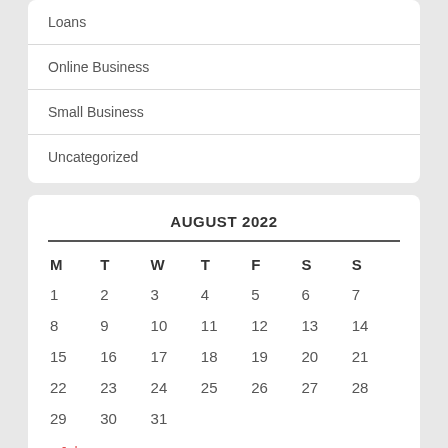Loans
Online Business
Small Business
Uncategorized
| M | T | W | T | F | S | S |
| --- | --- | --- | --- | --- | --- | --- |
| 1 | 2 | 3 | 4 | 5 | 6 | 7 |
| 8 | 9 | 10 | 11 | 12 | 13 | 14 |
| 15 | 16 | 17 | 18 | 19 | 20 | 21 |
| 22 | 23 | 24 | 25 | 26 | 27 | 28 |
| 29 | 30 | 31 |  |  |  |  |
« Jul